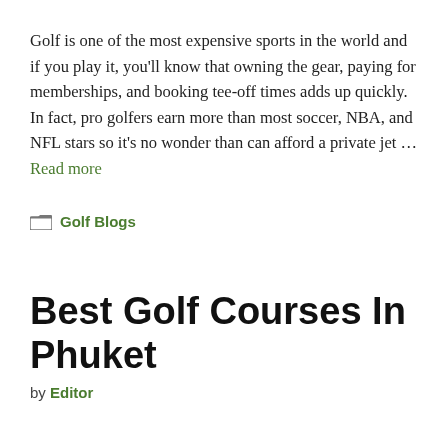Golf is one of the most expensive sports in the world and if you play it, you'll know that owning the gear, paying for memberships, and booking tee-off times adds up quickly. In fact, pro golfers earn more than most soccer, NBA, and NFL stars so it's no wonder than can afford a private jet … Read more
Golf Blogs
Best Golf Courses In Phuket
by Editor